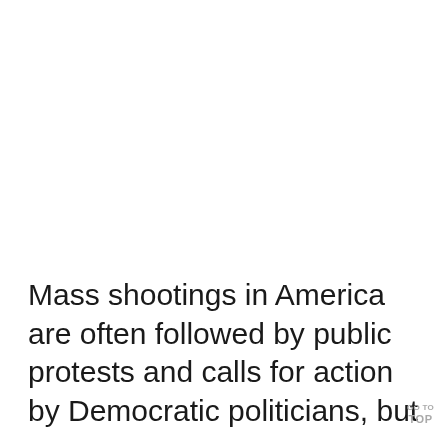Mass shootings in America are often followed by public protests and calls for action by Democratic politicians, but
GO TO TOP